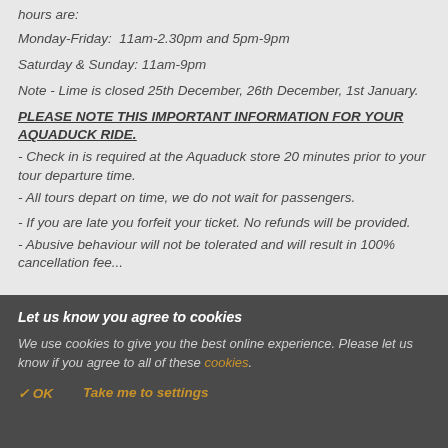hours are:
Monday-Friday: 11am-2.30pm and 5pm-9pm
Saturday & Sunday: 11am-9pm
Note - Lime is closed 25th December, 26th December, 1st January.
PLEASE NOTE THIS IMPORTANT INFORMATION FOR YOUR AQUADUCK RIDE.
- Check in is required at the Aquaduck store 20 minutes prior to your tour departure time.
- All tours depart on time, we do not wait for passengers.
- If you are late you forfeit your ticket. No refunds will be provided.
- Abusive behaviour will not be tolerated and will result in 100% cancellation fee
Let us know you agree to cookies
We use cookies to give you the best online experience. Please let us know if you agree to all of these cookies.
✓ OK   Take me to settings